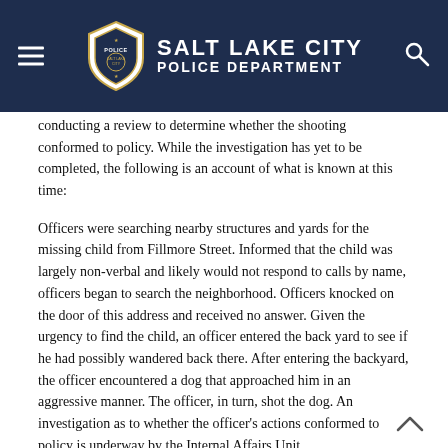Salt Lake City Police Department
conducting a review to determine whether the shooting conformed to policy. While the investigation has yet to be completed, the following is an account of what is known at this time:
Officers were searching nearby structures and yards for the missing child from Fillmore Street. Informed that the child was largely non-verbal and likely would not respond to calls by name, officers began to search the neighborhood. Officers knocked on the door of this address and received no answer. Given the urgency to find the child, an officer entered the back yard to see if he had possibly wandered back there. After entering the backyard, the officer encountered a dog that approached him in an aggressive manner. The officer, in turn, shot the dog. An investigation as to whether the officer's actions conformed to policy is underway by the Internal Affairs Unit.